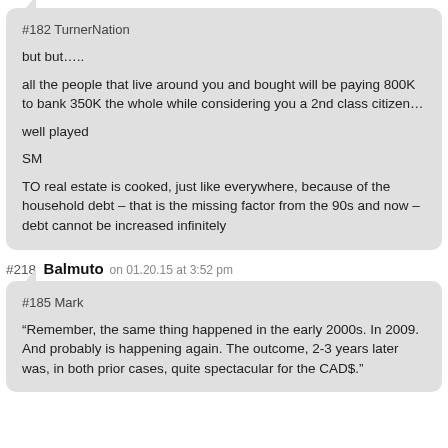#182 TurnerNation
but but…..
all the people that live around you and bought will be paying 800K to bank 350K the whole while considering you a 2nd class citizen…

well played

SM

TO real estate is cooked, just like everywhere, because of the household debt – that is the missing factor from the 90s and now – debt cannot be increased infinitely
#218 Balmuto on 01.20.15 at 3:52 pm
#185 Mark
“Remember, the same thing happened in the early 2000s. In 2009. And probably is happening again. The outcome, 2-3 years later was, in both prior cases, quite spectacular for the CAD$."